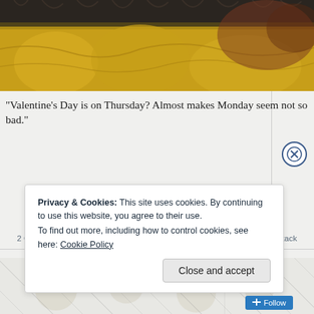[Figure (photo): A cat or dog wrapped in a yellow/gold blanket, photographed close-up, top portion cropped.]
“Valentine’s Day is on Thursday? Almost makes Monday seem not so bad.”
2 Comments  |  tags: boxer, Dog, photo, valentine’s day | posted in Jack Attack
[Figure (photo): Faded/watermarked background image area, partially visible below the meta line.]
Privacy & Cookies: This site uses cookies. By continuing to use this website, you agree to their use.
To find out more, including how to control cookies, see here: Cookie Policy
Close and accept